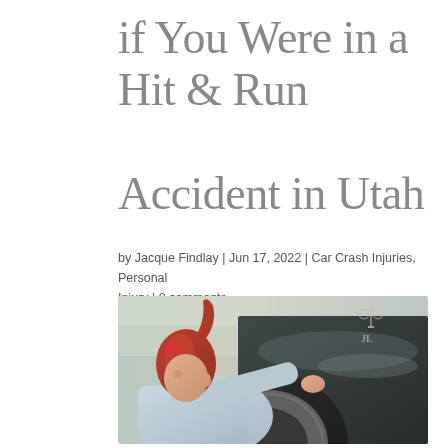if You Were in a Hit & Run Accident in Utah
by Jacque Findlay | Jun 17, 2022 | Car Crash Injuries, Personal Injury | 0 comments
[Figure (photo): A red-haired woman in a light blue jacket leans over a car tire examining damage to a vehicle after an accident. A law firm logo (scales of justice) watermark is visible in the upper right corner of the photo.]